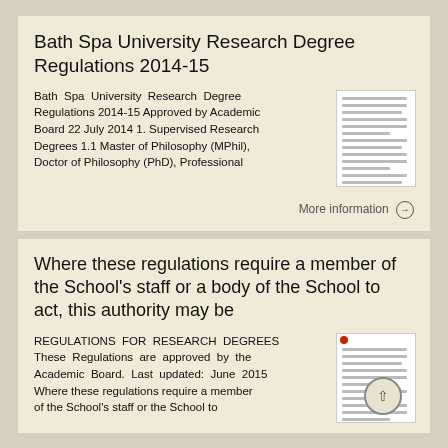Bath Spa University Research Degree Regulations 2014-15
Bath Spa University Research Degree Regulations 2014-15 Approved by Academic Board 22 July 2014 1. Supervised Research Degrees 1.1 Master of Philosophy (MPhil), Doctor of Philosophy (PhD), Professional
More information →
Where these regulations require a member of the School's staff or a body of the School to act, this authority may be
REGULATIONS FOR RESEARCH DEGREES These Regulations are approved by the Academic Board. Last updated: June 2015 Where these regulations require a member of the School's staff or the School to